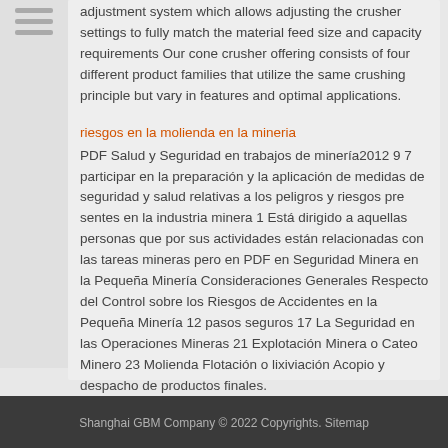adjustment system which allows adjusting the crusher settings to fully match the material feed size and capacity requirements Our cone crusher offering consists of four different product families that utilize the same crushing principle but vary in features and optimal applications.
riesgos en la molienda en la mineria
PDF Salud y Seguridad en trabajos de minería2012 9 7 participar en la preparación y la aplicación de medidas de seguridad y salud relativas a los peligros y riesgos pre sentes en la industria minera 1 Está dirigido a aquellas personas que por sus actividades están relacionadas con las tareas mineras pero en PDF en Seguridad Minera en la Pequeña Minería Consideraciones Generales Respecto del Control sobre los Riesgos de Accidentes en la Pequeña Minería 12 pasos seguros 17 La Seguridad en las Operaciones Mineras 21 Explotación Minera o Cateo Minero 23 Molienda Flotación o lixiviación Acopio y despacho de productos finales.
Shanghai GBM Company © 2022 Copyrights. Sitemap